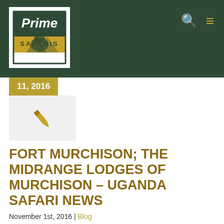[Figure (logo): Prime Safaris logo - green and gold with gorilla silhouette]
11, 2016
[Figure (illustration): Gold pen/quill icon on light gray background]
FORT MURCHISON; THE MIDRANGE LODGES OF MURCHISON – UGANDA SAFARI NEWS
November 1st, 2016 | Blog
Nestled at the northern boundary of Murchison Falls National Park overlooking